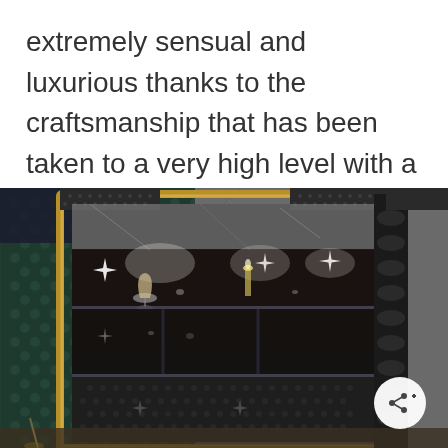extremely sensual and luxurious thanks to the craftsmanship that has been taken to a very high level with a certain artistic feel.
[Figure (photo): A luxury display cabinet with black ornate frame, gold inner frame, glass shelves with lit glassware and decorative objects, set against a dark green patterned wallpaper background. A share button is visible in the lower right corner.]